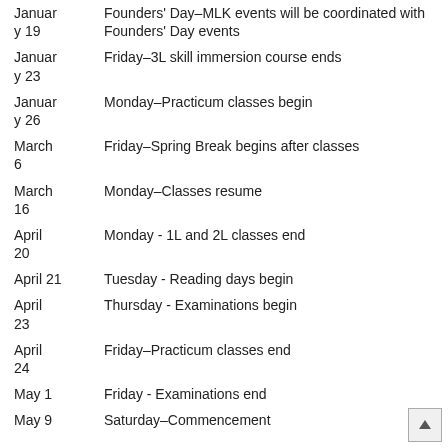| Date | Event |
| --- | --- |
| January 19 | Founders' Day–MLK events will be coordinated with Founders' Day events |
| January 23 | Friday–3L skill immersion course ends |
| January 26 | Monday–Practicum classes begin |
| March 6 | Friday–Spring Break begins after classes |
| March 16 | Monday–Classes resume |
| April 20 | Monday - 1L and 2L classes end |
| April 21 | Tuesday - Reading days begin |
| April 23 | Thursday - Examinations begin |
| April 24 | Friday–Practicum classes end |
| May 1 | Friday - Examinations end |
| May 9 | Saturday–Commencement |